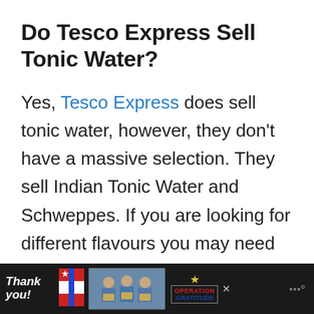Do Tesco Express Sell Tonic Water?
Yes, Tesco Express does sell tonic water, however, they don't have a massive selection. They sell Indian Tonic Water and Schweppes. If you are looking for different flavours you may need to go to a Tesco Superstore.
[Figure (photo): Advertisement banner at the bottom: 'Thank you!' text with American flag imagery, photo of nurses/medical workers holding boxes, and Operation Gratitude logo with a close button and website logo.]